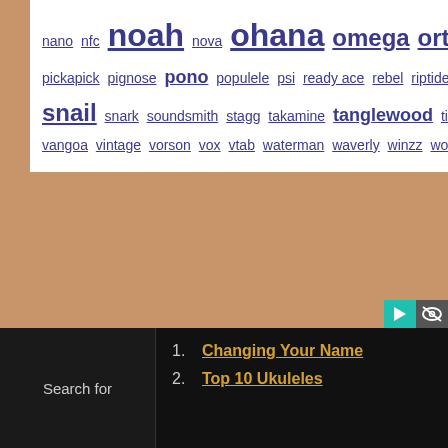nano nfc noah nova ohana omega ortega oulcraft outdoor ovation ozark paisen perkins peterson pickapick pignose pono populele psi ready ace rebel riptide risa roland romero rosen schoenhut seagull shima sigma snail snark soundsmith stagg takamine tanglewood tiger tiki timms tinguitar tkitki twisted uke leash uluru uma vangoa vintage vorson vox vtab waterman waverly winzz woodi wunderkammer zachary
Search for
Changing Your Name
Top 10 Ukuleles
Search for
1. Changing Your Name
2. Top 10 Ukuleles